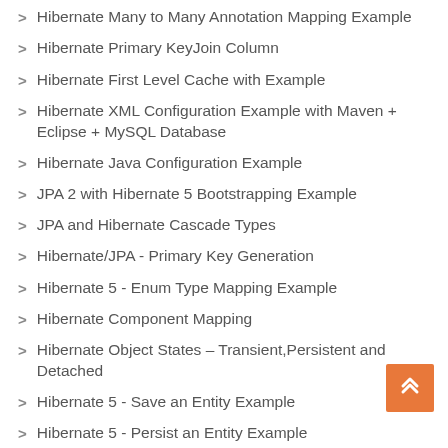Hibernate Many to Many Annotation Mapping Example
Hibernate Primary KeyJoin Column
Hibernate First Level Cache with Example
Hibernate XML Configuration Example with Maven + Eclipse + MySQL Database
Hibernate Java Configuration Example
JPA 2 with Hibernate 5 Bootstrapping Example
JPA and Hibernate Cascade Types
Hibernate/JPA - Primary Key Generation
Hibernate 5 - Enum Type Mapping Example
Hibernate Component Mapping
Hibernate Object States – Transient,Persistent and Detached
Hibernate 5 - Save an Entity Example
Hibernate 5 - Persist an Entity Example
Hibernate 5 - saveOrUpdate() Method Example
Hibernate 5 - get(), load() and byId() Method Examples